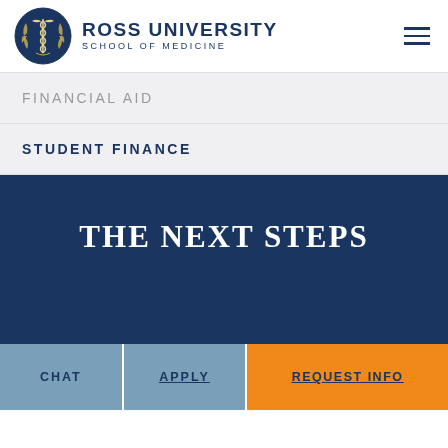ROSS UNIVERSITY SCHOOL OF MEDICINE
FINANCIAL AID
STUDENT FINANCE
THE NEXT STEPS
CHAT
APPLY
REQUEST INFO